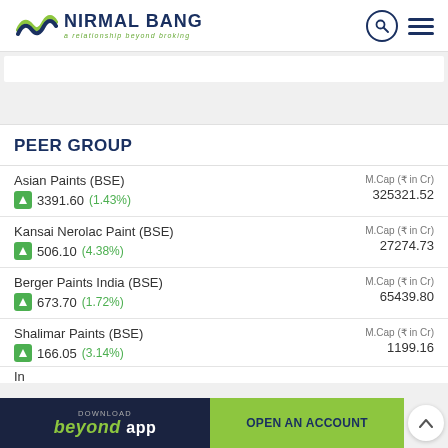NIRMAL BANG — a relationship beyond broking
PEER GROUP
| Company | Price | Change | M.Cap (₹ in Cr) |
| --- | --- | --- | --- |
| Asian Paints (BSE) | 3391.60 | (1.43%) | 325321.52 |
| Kansai Nerolac Paint (BSE) | 506.10 | (4.38%) | 27274.73 |
| Berger Paints India (BSE) | 673.70 | (1.72%) | 65439.80 |
| Shalimar Paints (BSE) | 166.05 | (3.14%) | 1199.16 |